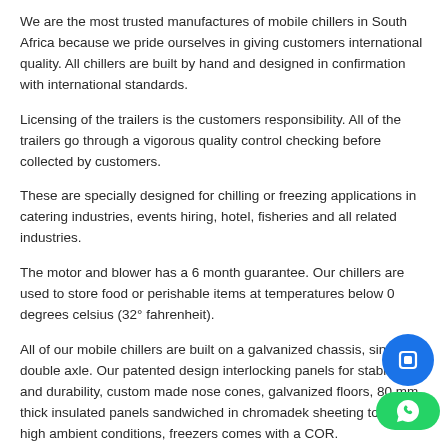We are the most trusted manufactures of mobile chillers in South Africa because we pride ourselves in giving customers international quality. All chillers are built by hand and designed in confirmation with international standards.
Licensing of the trailers is the customers responsibility. All of the trailers go through a vigorous quality control checking before collected by customers.
These are specially designed for chilling or freezing applications in catering industries, events hiring, hotel, fisheries and all related industries.
The motor and blower has a 6 month guarantee. Our chillers are used to store food or perishable items at temperatures below 0 degrees celsius (32° fahrenheit).
All of our mobile chillers are built on a galvanized chassis, single or double axle. Our patented design interlocking panels for stability and durability, custom made nose cones, galvanized floors, 80 mm thick insulated panels sandwiched in chromadek sheeting to suit high ambient conditions, freezers comes with a COR.